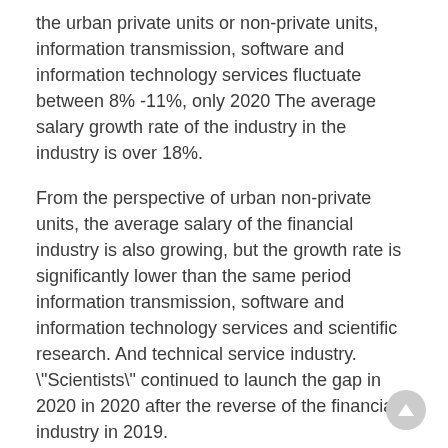the urban private units or non-private units, information transmission, software and information technology services fluctuate between 8% -11%, only 2020 The average salary growth rate of the industry in the industry is over 18%.
From the perspective of urban non-private units, the average salary of the financial industry is also growing, but the growth rate is significantly lower than the same period information transmission, software and information technology services and scientific research. And technical service industry. "Scientists" continued to launch the gap in 2020 in 2020 after the reverse of the financial industry in 2019.
In the urban private unit, the average salary growth rate in the financial industry in 2016,20, 2018, the software and information technology service industry, the mining industry in 2019 and 2020 Higher growth rate is also achieved.
Meng Caewei pointed out that the average salary changes of urban unit employment personnel were influenced by multiple factors, including economic benefits, macro